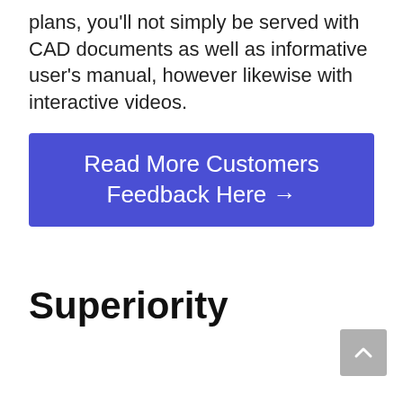plans, you'll not simply be served with CAD documents as well as informative user's manual, however likewise with interactive videos.
[Figure (other): Blue call-to-action button with white text reading 'Read More Customers Feedback Here →']
Superiority